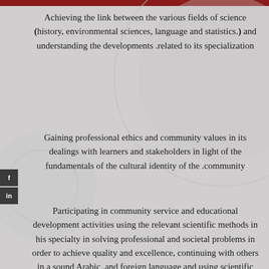Achieving the link between the various fields of science (history, environmental sciences, language and statistics.) and understanding the developments related to its specialization.
Gaining professional ethics and community values in its dealings with learners and stakeholders in light of the fundamentals of the cultural identity of the community.
Participating in community service and educational development activities using the relevant scientific methods in his specialty in solving professional and societal problems in order to achieve quality and excellence, continuing with others in a sound Arabic and foreign language and using scientific methods.